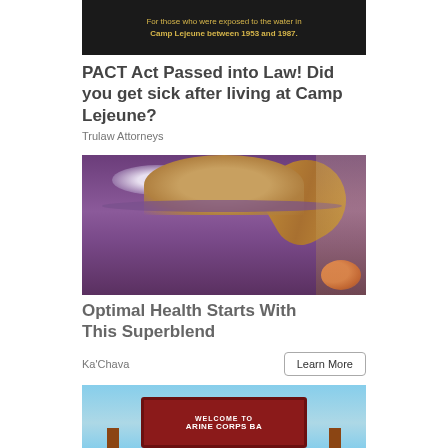[Figure (photo): Dark banner ad with yellow text reading: For those who were exposed to the water in Camp Lejeune between 1953 and 1987.]
PACT Act Passed into Law! Did you get sick after living at Camp Lejeune?
Trulaw Attorneys
[Figure (photo): Close-up photo of a purple smoothie in a mason jar with a tan/brown peanut butter topping drizzled over the side, with foam and a kitchen background.]
Optimal Health Starts With This Superblend
Ka'Chava
[Figure (photo): Partially visible photo of a military base sign reading WELCOME TO MARINE CORPS BASE with red sign board and brown posts, blue sky background.]